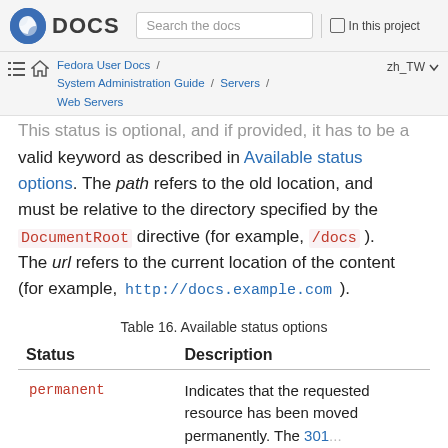DOCS | Search the docs | In this project
Fedora User Docs / System Administration Guide / Servers / Web Servers  zh_TW
This status is optional, and if provided, it has to be a valid keyword as described in Available status options. The path refers to the old location, and must be relative to the directory specified by the DocumentRoot directive (for example, /docs). The url refers to the current location of the content (for example, http://docs.example.com).
Table 16. Available status options
| Status | Description |
| --- | --- |
| permanent | Indicates that the requested resource has been moved permanently. The 301... |